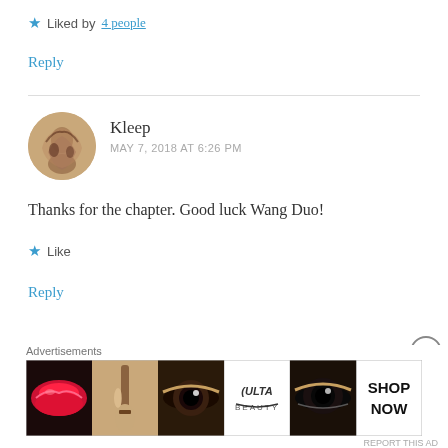Liked by 4 people
Reply
Kleep
MAY 7, 2018 AT 6:26 PM
Thanks for the chapter. Good luck Wang Duo!
Like
Reply
Advertisements
[Figure (illustration): ULTA beauty advertisement banner with makeup imagery — lips, brush, eye, ULTA logo, smoky eye, and SHOP NOW text]